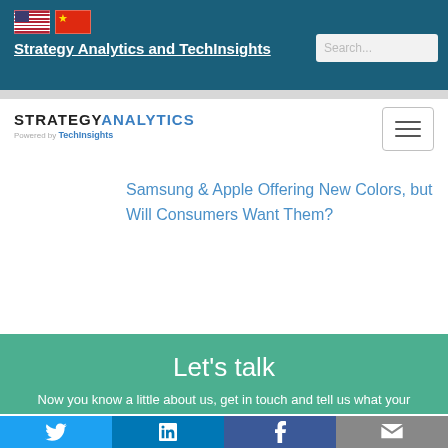[Figure (logo): US and China flag icons in top navigation bar]
Strategy Analytics and TechInsights | Search...
[Figure (logo): Strategy Analytics powered by TechInsights logo with hamburger menu button]
Samsung & Apple Offering New Colors, but Will Consumers Want Them?
Let's talk
Now you know a little about us, get in touch and tell us what your
[Figure (infographic): Social media bar with Twitter, LinkedIn, Facebook, and Email icons]